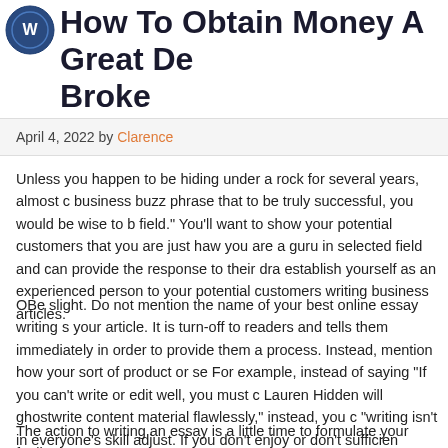[Figure (logo): Circular logo/icon in top-left corner]
How To Obtain Money A Great De... Broke
April 4, 2022 by Clarence
Unless you happen to be hiding under a rock for several years, almost c... business buzz phrase that to be truly successful, you would be wise to b... field." You'll want to show your potential customers that you are just haw... you are a guru in selected field and can provide the response to their dra... establish yourself as an experienced person to your potential customers... writing business articles.
OBe slight. Do not mention the name of your best online essay writing s... your article. It is turn-off to readers and tells them immediately in order to... provide them a process. Instead, mention how your sort of product or se... For example, instead of saying "If you can't write or edit well, you must c... Lauren Hidden will ghostwrite content material flawlessly," instead, you c... "writing isn't in everyone's skill adjust. If you don't enjoy or don't sufficien... business articles, consider hiring a ghostwriter to help you your expertise... One is giving the various readers a useful suggestion, the additional one
The action to writing an essay is a little time to formulate your feelings. T